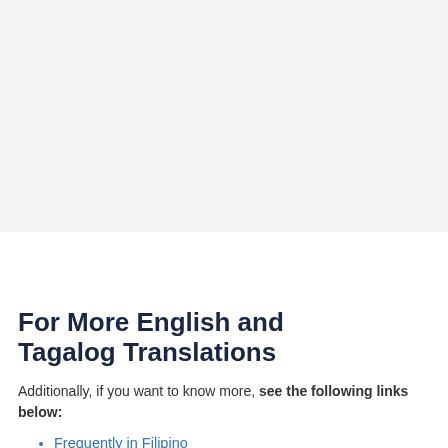[Figure (screenshot): CVS pharmacy advertisement panel with checkmarks for In-store shopping, Drive-through, and other services, with info and close icons]
bukol-bukol.
For More English and Tagalog Translations
Additionally, if you want to know more, see the following links below:
Frequently in Filipino
Gamot In English
Gripo In English
Grudge in Tagalog
Grudges in Tagalog